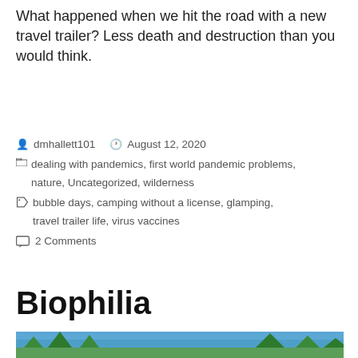What happened when we hit the road with a new travel trailer? Less death and destruction than you would think.
dmhallett101  August 12, 2020
dealing with pandemics, first world pandemic problems, nature, Uncategorized, wilderness
bubble days, camping without a license, glamping, travel trailer life, virus vaccines
2 Comments
Biophilia
[Figure (photo): Outdoor nature scene with trees against a blue sky]